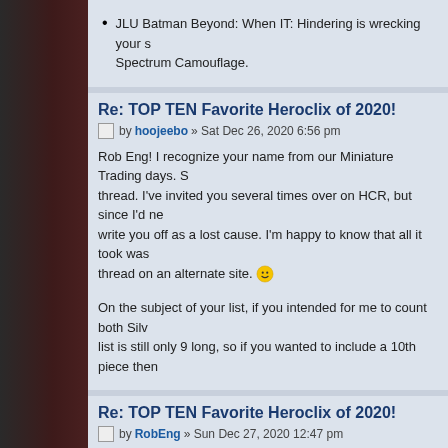JLU Batman Beyond: When IT: Hindering is wrecking your s... Spectrum Camouflage.
Re: TOP TEN Favorite Heroclix of 2020!
by hoojeebo » Sat Dec 26, 2020 6:56 pm
Rob Eng! I recognize your name from our Miniature Trading days. S... thread. I've invited you several times over on HCR, but since I'd ne... write you off as a lost cause. I'm happy to know that all it took was ... thread on an alternate site. 😀
On the subject of your list, if you intended for me to count both Silv... list is still only 9 long, so if you wanted to include a 10th piece then...
Re: TOP TEN Favorite Heroclix of 2020!
by RobEng » Sun Dec 27, 2020 12:47 pm
hoojeebo wrote: Rob Eng! I recognize your name from our Miniature Trading days... yearly thread. I've invited you several times over on HCR, but sin... ready to write you off as a lost cause. I'm happy to know that all i... listing this thread on an alternate site. 😀